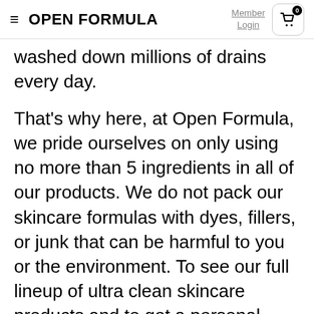OPEN FORMULA  Member Login  0
washed down millions of drains every day.
That's why here, at Open Formula, we pride ourselves on only using no more than 5 ingredients in all of our products. We do not pack our skincare formulas with dyes, fillers, or junk that can be harmful to you or the environment. To see our full lineup of ultra clean skincare products and to get a personal recommendation of what to add to your skincare routine, click here.
Takeaway